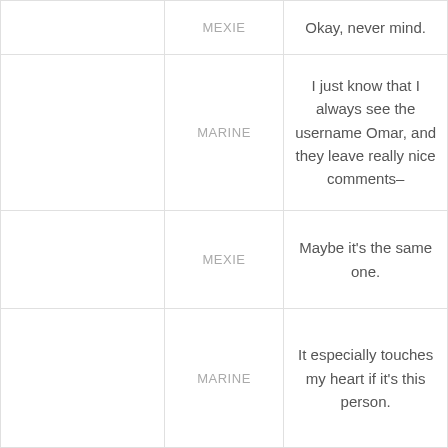|  | MEXIE | Okay, never mind. |
|  | MARINE | I just know that I always see the username Omar, and they leave really nice comments– |
|  | MEXIE | Maybe it's the same one. |
|  | MARINE | It especially touches my heart if it's this person. |